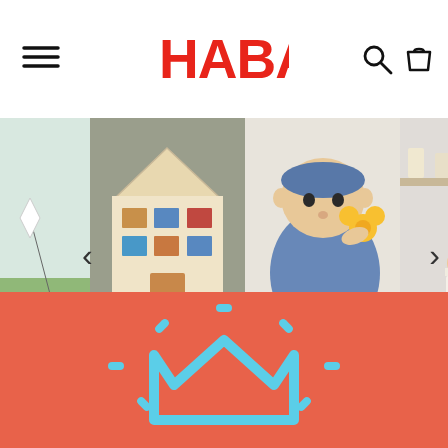[Figure (logo): HABA brand logo in red lettering centered in navigation header]
[Figure (photo): E-commerce website screenshot showing HABA toy brand homepage with navigation bar, image carousel of toys and children, and a coral/salmon colored banner section with a turquoise crown icon]
[Figure (illustration): Turquoise crown icon with radiating dashes on coral/salmon red background]